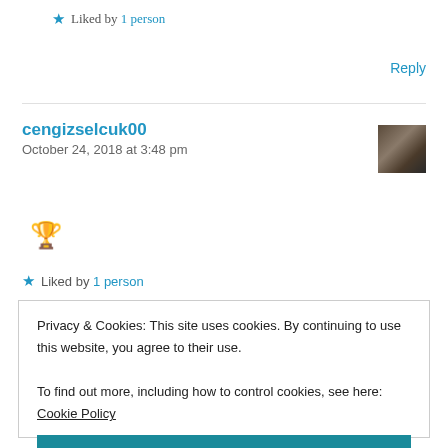★ Liked by 1 person
Reply
cengizselcuk00
October 24, 2018 at 3:48 pm
[Figure (photo): User avatar thumbnail showing a person in dark clothing]
🏆
★ Liked by 1 person
Privacy & Cookies: This site uses cookies. By continuing to use this website, you agree to their use.
To find out more, including how to control cookies, see here: Cookie Policy
Close and accept